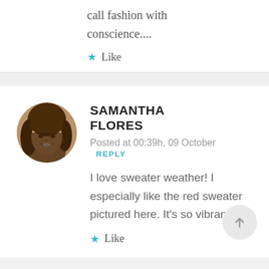call fashion with conscience....
Like
SAMANTHA FLORES
Posted at 00:39h, 09 October  REPLY
I love sweater weather! I especially like the red sweater pictured here. It's so vibrant!
Like